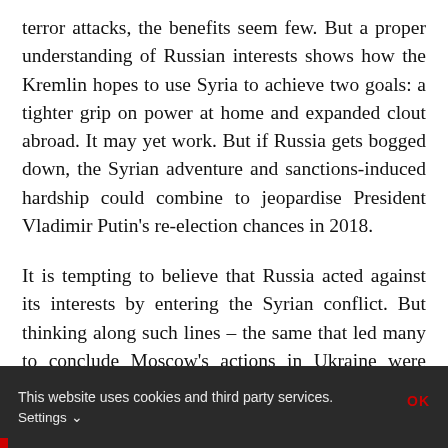terror attacks, the benefits seem few. But a proper understanding of Russian interests shows how the Kremlin hopes to use Syria to achieve two goals: a tighter grip on power at home and expanded clout abroad. It may yet work. But if Russia gets bogged down, the Syrian adventure and sanctions-induced hardship could combine to jeopardise President Vladimir Putin's re-election chances in 2018.
It is tempting to believe that Russia acted against its interests by entering the Syrian conflict. But thinking along such lines – the same that led many to conclude Moscow's actions in Ukraine were irrational – reflects a deep misunderstanding of
This website uses cookies and third party services. Settings ∨  OK